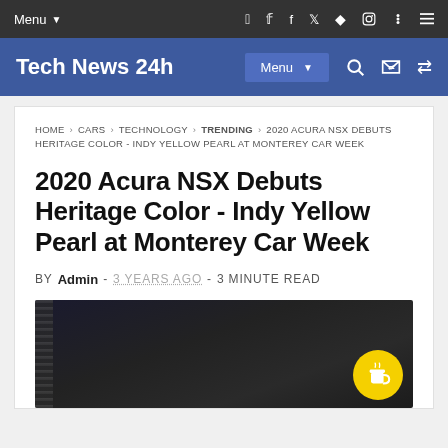Menu
Tech News 24h  Menu
HOME > CARS > TECHNOLOGY > TRENDING > 2020 ACURA NSX DEBUTS HERITAGE COLOR - INDY YELLOW PEARL AT MONTEREY CAR WEEK
2020 Acura NSX Debuts Heritage Color - Indy Yellow Pearl at Monterey Car Week
by Admin - 3 YEARS AGO - 3 MINUTE READ
[Figure (photo): Dark photo of the 2020 Acura NSX in a dark studio setting, partially visible]